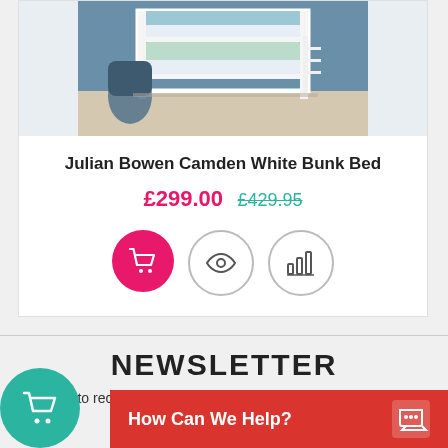[Figure (photo): Bunk bed product photo showing a white bunk bed in a child's bedroom with blue walls]
Julian Bowen Camden White Bunk Bed
£299.00  £429.95
[Figure (infographic): Three action buttons: pink basket/cart button, eye/view button (outline), and bar chart/compare button (outline)]
NEWSLETTER
p now to receive our latest special offers, promotions and dis
[Figure (infographic): Teal circular chat/basket button on bottom left, and red 'How Can We Help?' help bar with chat icon on bottom right]